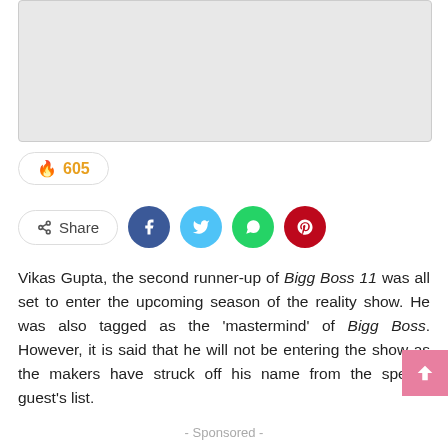[Figure (other): Gray placeholder image/advertisement area]
🔥 605
Share (social buttons: Facebook, Twitter, WhatsApp, Pinterest)
Vikas Gupta, the second runner-up of Bigg Boss 11 was all set to enter the upcoming season of the reality show. He was also tagged as the 'mastermind' of Bigg Boss. However, it is said that he will not be entering the show as the makers have struck off his name from the special guest's list.
- Sponsored -